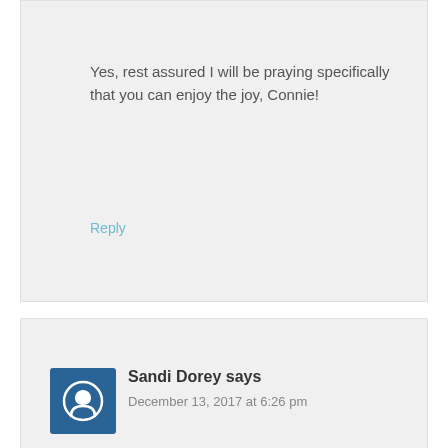Yes, rest assured I will be praying specifically that you can enjoy the joy, Connie!
Reply
Sandi Dorey says
December 13, 2017 at 6:26 pm